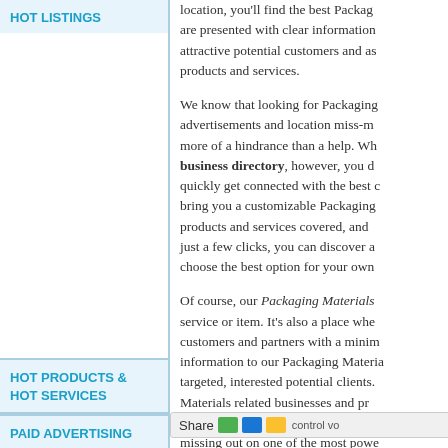HOT LISTINGS
HOT PRODUCTS & HOT SERVICES
PAID ADVERTISING
location, you'll find the best Packaging are presented with clear information attractive potential customers and as products and services.
We know that looking for Packaging advertisements and location miss-m more of a hindrance than a help. Wh business directory, however, you d quickly get connected with the best c bring you a customizable Packaging products and services covered, and just a few clicks, you can discover a choose the best option for your own
Of course, our Packaging Materials service or item. It's also a place whe customers and partners with a minim information to our Packaging Materia targeted, interested potential clients. Materials related businesses and pr easy and useful for your customers. missing out on one of the most powe
Whether you're looking for great Pac growing business that's in the field, y Packaging Materials business directo sections of our site, including the Packaging Materials Business Direc . Your search can be scaled to any s can reach more targeted, local custo options and iterate over control yo